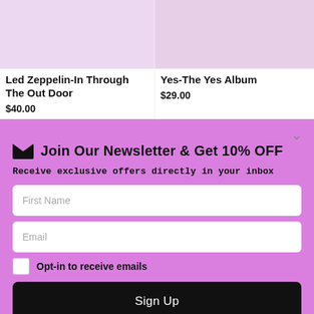[Figure (photo): Album cover placeholder – light purple/lavender rectangle for Led Zeppelin - In Through The Out Door]
Led Zeppelin-In Through The Out Door
$40.00
[Figure (photo): Album cover placeholder – light purple/mauve rectangle for Yes - The Yes Album]
Yes-The Yes Album
$29.00
✉ Join Our Newsletter & Get 10% OFF
Receive exclusive offers directly in your inbox
First Name
Email
Opt-in to receive emails
Sign Up